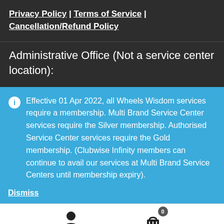Privacy Policy | Terms of Service | Cancellation/Refund Policy
Administrative Office (Not a service center location):
Effective 01 Apr 2022, all Wheels Wisdom services require a membership. Multi Brand Service Center services require the Silver membership. Authorised Service Center services require the Gold membership. (Clubwise Infinity members can continue to avail our services at Multi Brand Service Centers until membership expiry).
Dismiss